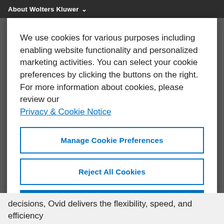About Wolters Kluwer
We use cookies for various purposes including enabling website functionality and personalized marketing activities. You can select your cookie preferences by clicking the buttons on the right. For more information about cookies, please review our Privacy & Cookie Notice
Manage Cookie Preferences
Reject All Cookies
Accept All Cookies
decisions, Ovid delivers the flexibility, speed, and efficiency